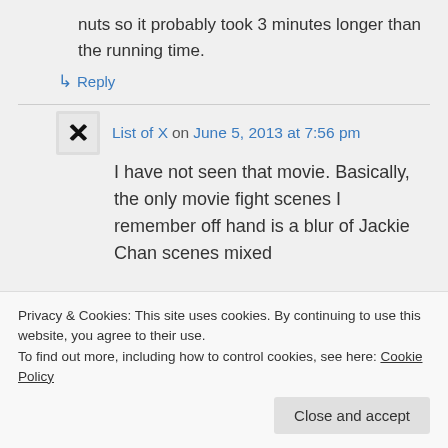nuts so it probably took 3 minutes longer than the running time.
↳ Reply
List of X on June 5, 2013 at 7:56 pm
I have not seen that movie. Basically, the only movie fight scenes I remember off hand is a blur of Jackie Chan scenes mixed
Privacy & Cookies: This site uses cookies. By continuing to use this website, you agree to their use.
To find out more, including how to control cookies, see here: Cookie Policy
Close and accept